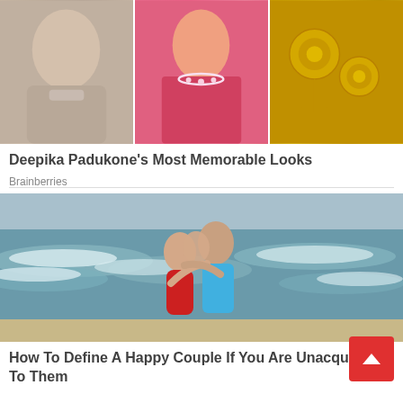[Figure (photo): Three images of Deepika Padukone in various outfits and jewelry looks — grey outfit, pink saree with necklace, golden jewelry closeup]
Deepika Padukone's Most Memorable Looks
Brainberries
[Figure (photo): A couple kissing and embracing on a beach — woman in red swimsuit, man in blue shorts, with ocean waves in the background]
How To Define A Happy Couple If You Are Unacquainted To Them